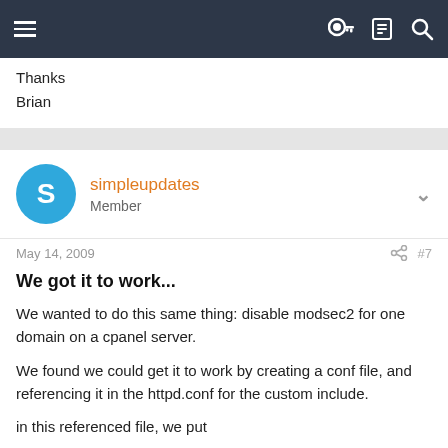Navigation bar with menu icon and search/key/list icons
Thanks
Brian
simpleupdates
Member
May 14, 2009   #7
We got it to work...
We wanted to do this same thing: disable modsec2 for one domain on a cpanel server.
We found we could get it to work by creating a conf file, and referencing it in the httpd.conf for the custom include.
in this referenced file, we put
<IfModule mod_security2.c>
SecRuleEngine Off